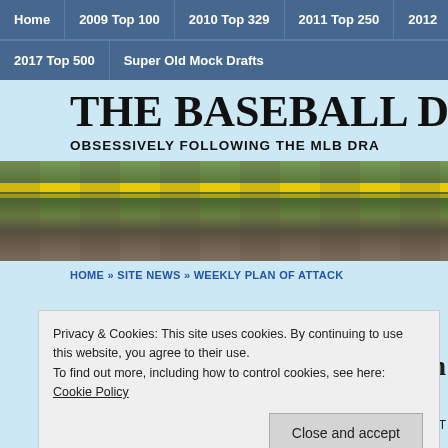Home | 2009 Top 100 | 2010 Top 329 | 2011 Top 250 | 2012... | 2017 Top 500 | Super Old Mock Drafts
THE BASEBALL DRAFT REPO
OBSESSIVELY FOLLOWING THE MLB DRA
[Figure (photo): Outdoor scene with yellow caution tape strung across a fence or barrier, trees in the background]
HOME » SITE NEWS » WEEKLY PLAN OF ATTACK
Privacy & Cookies: This site uses cookies. By continuing to use this website, you agree to their use.
To find out more, including how to control cookies, see here: Cookie Policy
Close and accept
baseball box scores can be. T